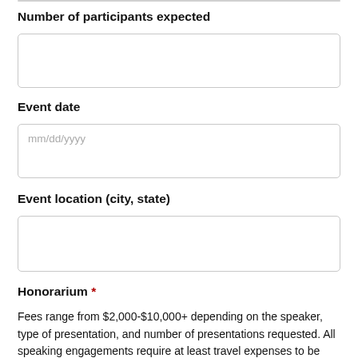Number of participants expected
Event date
Event location (city, state)
Honorarium *
Fees range from $2,000-$10,000+ depending on the speaker, type of presentation, and number of presentations requested. All speaking engagements require at least travel expenses to be covered. If funding is limited, please consider getting co-